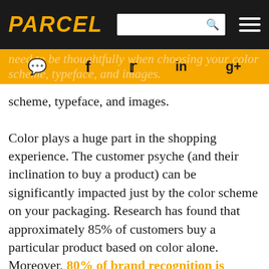PARCEL
[Figure (screenshot): Social media share bar with icons: comment, Facebook, Twitter, LinkedIn, Google+, overlaid on orange background with partial text]
need to be thoughtfully when choosing your color scheme, typeface, and images. Color plays a huge part in the shopping experience. The customer psyche (and their inclination to buy a product) can be significantly impacted just by the color scheme on your packaging. Research has found that approximately 85% of customers buy a particular product based on color alone. Moreover, 80% of brand recognition is driven by color. Therefore, you need to make an effort to associate your product packaging with your brand through well-chosen hues. Nearly every